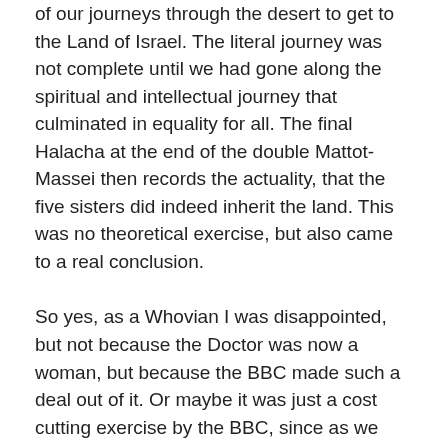of our journeys through the desert to get to the Land of Israel. The literal journey was not complete until we had gone along the spiritual and intellectual journey that culminated in equality for all. The final Halacha at the end of the double Mattot-Massei then records the actuality, that the five sisters did indeed inherit the land. This was no theoretical exercise, but also came to a real conclusion.
So yes, as a Whovian I was disappointed, but not because the Doctor was now a woman, but because the BBC made such a deal out of it. Or maybe it was just a cost cutting exercise by the BBC, since as we now all know, their female stars get paid substantially less than their male counterparts!
These Sedras are always read during the Three Weeks, where 1) we increase in our desire for a full return to the Land of Israel and 2) where we are reminded to treat